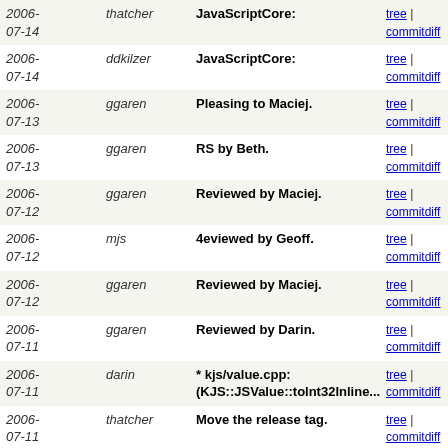| Date | Author | Description | Links |
| --- | --- | --- | --- |
| 2006-07-14 | thatcher | JavaScriptCore: | tree | commitdiff |
| 2006-07-14 | ddkilzer | JavaScriptCore: | tree | commitdiff |
| 2006-07-13 | ggaren | Pleasing to Maciej. | tree | commitdiff |
| 2006-07-13 | ggaren | RS by Beth. | tree | commitdiff |
| 2006-07-12 | ggaren | Reviewed by Maciej. | tree | commitdiff |
| 2006-07-12 | mjs | 4eviewed by Geoff. | tree | commitdiff |
| 2006-07-12 | ggaren | Reviewed by Maciej. | tree | commitdiff |
| 2006-07-11 | ggaren | Reviewed by Darin. | tree | commitdiff |
| 2006-07-11 | darin | * kjs/value.cpp: (KJS::JSValue::toInt32Inline... | tree | commitdiff |
| 2006-07-11 | thatcher | Move the release tag. | tree | commitdiff |
| 2006-07-11 | darin | - fix the release build | tree | commitdiff |
| 2006-07-11 | thatcher | Versioning | tree | commitdiff |
| 2006-07-11 | ddkilzer | JavaScriptCore: | tree | commitdiff |